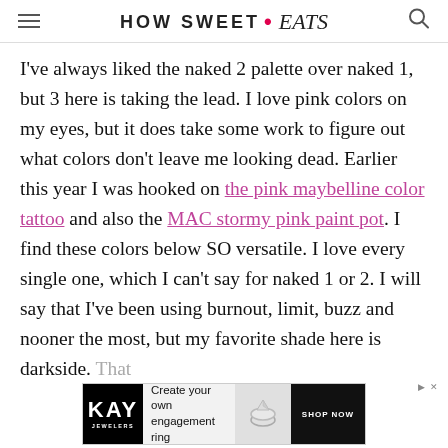HOW SWEET • eats
I've always liked the naked 2 palette over naked 1, but 3 here is taking the lead. I love pink colors on my eyes, but it does take some work to figure out what colors don't leave me looking dead. Earlier this year I was hooked on the pink maybelline color tattoo and also the MAC stormy pink paint pot. I find these colors below SO versatile. I love every single one, which I can't say for naked 1 or 2. I will say that I've been using burnout, limit, buzz and nooner the most, but my favorite shade here is darkside. That
[Figure (screenshot): Kay Jewelers advertisement banner: Create your own engagement ring, SHOP NOW button, ring image]